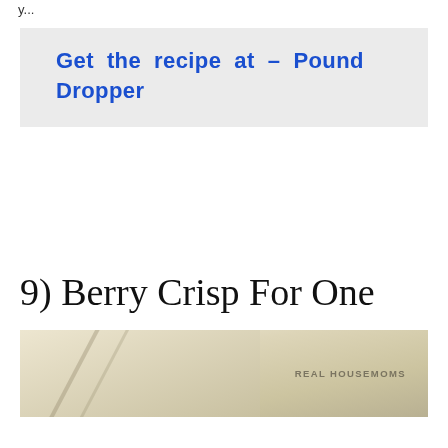y...
Get the recipe at – Pound Dropper
9) Berry Crisp For One
[Figure (photo): Photo of a berry crisp dessert with 'REAL HOUSEMOMS' watermark in upper right corner]